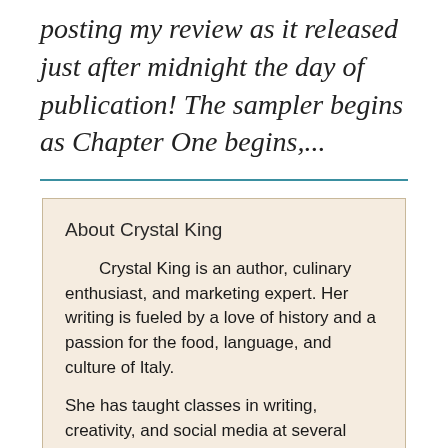posting my review as it released just after midnight the day of publication! The sampler begins as Chapter One begins,...
About Crystal King
Crystal King is an author, culinary enthusiast, and marketing expert. Her writing is fueled by a love of history and a passion for the food, language, and culture of Italy.
She has taught classes in writing, creativity, and social media at several universities including Harvard Extension School and Boston University, as well as...